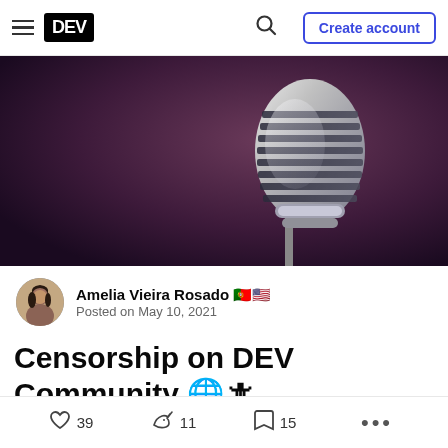DEV — Create account
[Figure (photo): A vintage silver microphone against a purple/dark background with dramatic lighting]
Amelia Vieira Rosado 🇵🇹🇺🇸
Posted on May 10, 2021
Censorship on DEV Community 🌐🗡
♡ 39   🦄 11   🔖 15   ...